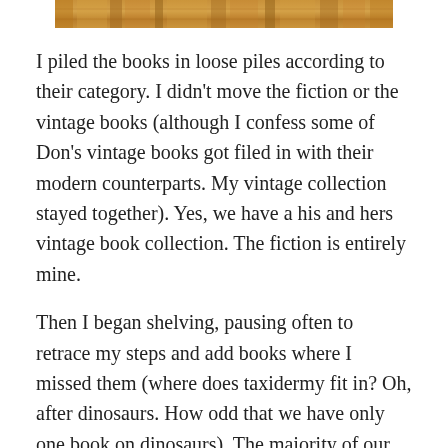[Figure (photo): Top strip showing a wooden surface with warm brown tones, appears to be a wood shelf or floor texture.]
I piled the books in loose piles according to their category. I didn't move the fiction or the vintage books (although I confess some of Don's vintage books got filed in with their modern counterparts. My vintage collection stayed together). Yes, we have a his and hers vintage book collection. The fiction is entirely mine.
Then I began shelving, pausing often to retrace my steps and add books where I missed them (where does taxidermy fit in? Oh, after dinosaurs. How odd that we have only one book on dinosaurs). The majority of our books fall into:
598 – birds
635 – gardening, indoor & outdoor